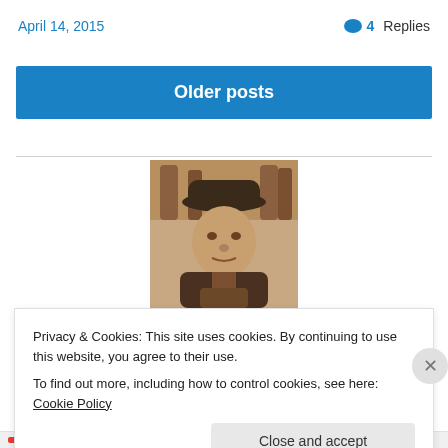April 14, 2015
💬 4 Replies
Older posts
[Figure (photo): Sepia-toned vintage photograph of a man wearing a dark hat, looking at the camera, with bottles visible in the background.]
Privacy & Cookies: This site uses cookies. By continuing to use this website, you agree to their use.
To find out more, including how to control cookies, see here: Cookie Policy
Close and accept